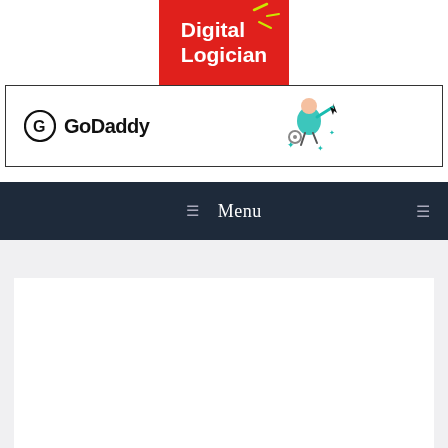[Figure (logo): Digital Logician logo — red background box with white bold text reading 'Digital Logician' and yellow/green spark lines in upper right]
[Figure (logo): GoDaddy logo (circular G icon and 'GoDaddy' text) on left side of banner, with a teal/colorful cursor/rocket mascot illustration on right side, all inside a bordered rectangle]
☰  Menu
[Figure (screenshot): Light gray page background with white content card area below the navigation bar — no visible text content in this region]